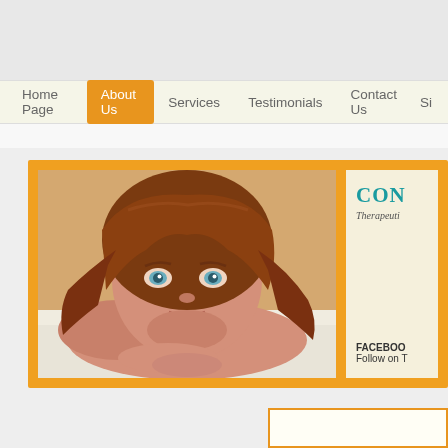Home Page | About Us | Services | Testimonials | Contact Us | Si
[Figure (screenshot): Website screenshot showing navigation bar with orange 'About Us' tab selected, and a main content area with an orange-bordered panel containing a photo of a red-haired woman lying on a massage table looking at the camera, next to a right panel with 'CON' (partially visible title), 'Therapeuti...' subtitle, and 'FACEBOO... Follow on T...' text on a cream background.]